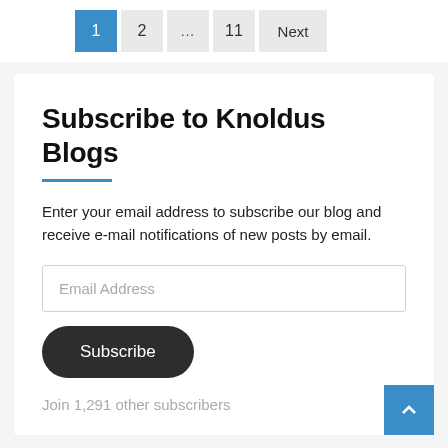1  2  ...  11  Next
Subscribe to Knoldus Blogs
Enter your email address to subscribe our blog and receive e-mail notifications of new posts by email.
Email Address
Subscribe
Join 1,291 other subscribers